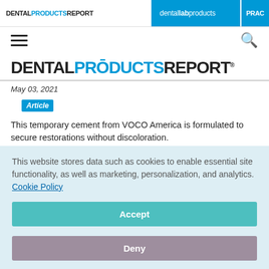DENTAL PRODUCTS REPORT | dental lab products | PRAC
[Figure (screenshot): Navigation menu bar with hamburger icon on left and search icon on right]
[Figure (logo): DENTAL PRODUCTS REPORT logo in large bold text with PRODUCTS in blue]
May 03, 2021
Article
This temporary cement from VOCO America is formulated to secure restorations without discoloration.
This website stores data such as cookies to enable essential site functionality, as well as marketing, personalization, and analytics. Cookie Policy
Accept
Deny